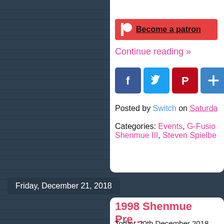[Figure (screenshot): Patreon button with red background, circle dot icon, and 'Become a patron' text]
Continue reading »
[Figure (infographic): Social share buttons: Facebook, Twitter, Pinterest, and a Plus/More button]
Posted by Switch on Saturday
Categories: Events, G-Fusion, Shenmue III, Steven Spielbe...
Friday, December 21, 2018
1998 Shenmue Pre... Subs]
Today, 20th December 2018